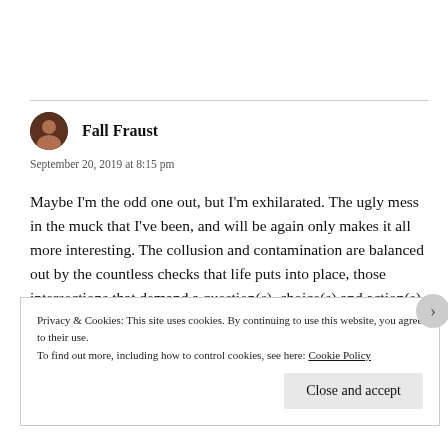Fall Fraust
September 20, 2019 at 8:15 pm
Maybe I'm the odd one out, but I'm exhilarated. The ugly mess in the muck that I've been, and will be again only makes it all more interesting. The collusion and contamination are balanced out by the countless checks that life puts into place, those intersections that demand a question(s), choice(s) and action(s) – That way? This way?
Privacy & Cookies: This site uses cookies. By continuing to use this website, you agree to their use. To find out more, including how to control cookies, see here: Cookie Policy
Close and accept